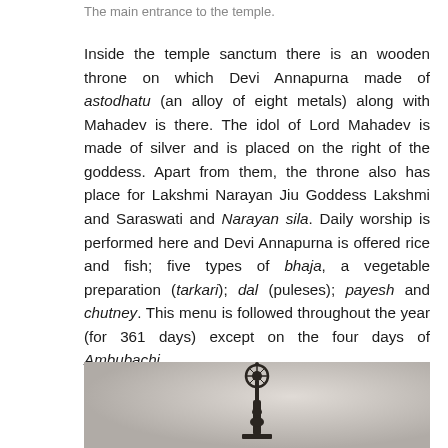The main entrance to the temple.
Inside the temple sanctum there is an wooden throne on which Devi Annapurna made of astodhatu (an alloy of eight metals) along with Mahadev is there. The idol of Lord Mahadev is made of silver and is placed on the right of the goddess. Apart from them, the throne also has place for Lakshmi Narayan Jiu Goddess Lakshmi and Saraswati and Narayan sila. Daily worship is performed here and Devi Annapurna is offered rice and fish; five types of bhaja, a vegetable preparation (tarkari); dal (puleses); payesh and chutney. This menu is followed throughout the year (for 361 days) except on the four days of Ambubachi.
[Figure (photo): A photograph showing a decorative metal finial or temple ornament on a pedestal, photographed against a light grey background. The object appears to be a dark metal artifact, possibly brass or iron, with an ornate circular top piece.]